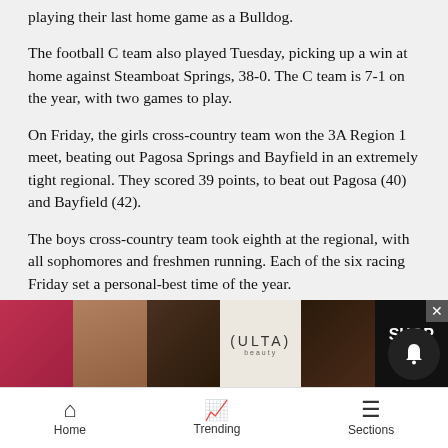playing their last home game as a Bulldog.
The football C team also played Tuesday, picking up a win at home against Steamboat Springs, 38-0. The C team is 7-1 on the year, with two games to play.
On Friday, the girls cross-country team won the 3A Region 1 meet, beating out Pagosa Springs and Bayfield in an extremely tight regional. They scored 39 points, to beat out Pagosa (40) and Bayfield (42).
The boys cross-country team took eighth at the regional, with all sophomores and freshmen running. Each of the six racing Friday set a personal-best time of the year.
Finally [partially obscured] Monte [partially obscured] d
[Figure (screenshot): ULTA Beauty advertisement banner with makeup imagery and SHOP NOW call to action]
Home   Trending   Sections